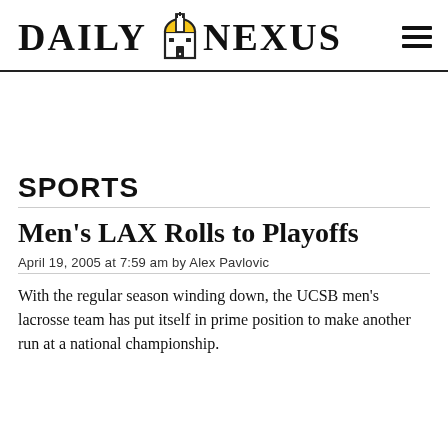DAILY NEXUS
SPORTS
Men's LAX Rolls to Playoffs
April 19, 2005 at 7:59 am by Alex Pavlovic
With the regular season winding down, the UCSB men's lacrosse team has put itself in prime position to make another run at a national championship.